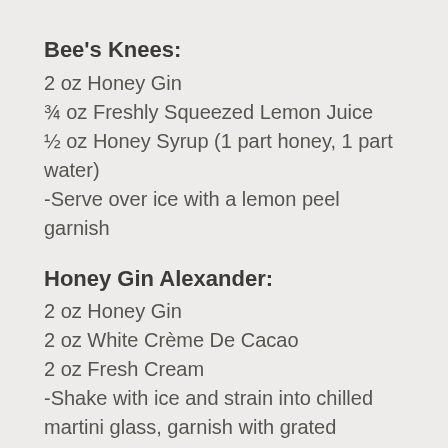Bee's Knees:
2 oz Honey Gin
¾ oz Freshly Squeezed Lemon Juice
½ oz Honey Syrup (1 part honey, 1 part water)
-Serve over ice with a lemon peel garnish
Honey Gin Alexander:
2 oz Honey Gin
2 oz White Crème De Cacao
2 oz Fresh Cream
-Shake with ice and strain into chilled martini glass, garnish with grated nutmeg or chocolate
Honey Gin Rickey:
2 oz Honey Gin
4 oz Sparkling Water